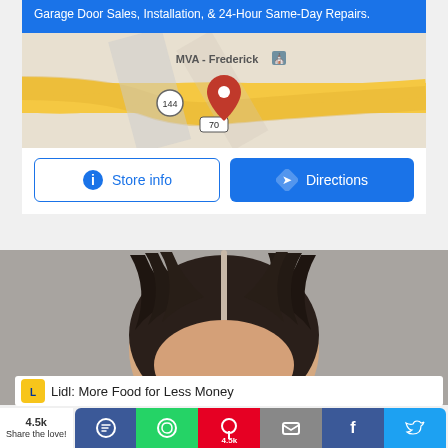[Figure (screenshot): Google Maps business card showing a garage door company with map view, blue header with subtitle text 'Garage Door Sales, Installation, & 24-Hour Same-Day Repairs.', a map snippet showing MVA - Frederick area with route 144 and 70, and two buttons: Store info and Directions.]
[Figure (photo): Close-up photo of the top of a woman's head showing dark hair with a center part, gray background.]
Lidl: More Food for Less Money
4.5k
Share the love!